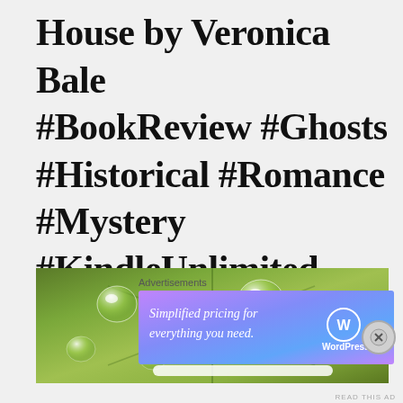House by Veronica Bale #BookReview #Ghosts #Historical #Romance #Mystery #KindleUnlimited
[Figure (photo): Close-up photo of a green leaf with water droplets]
Advertisements
[Figure (infographic): WordPress.com advertisement banner with gradient purple-blue background reading 'Simplified pricing for everything you need.' with WordPress.com logo]